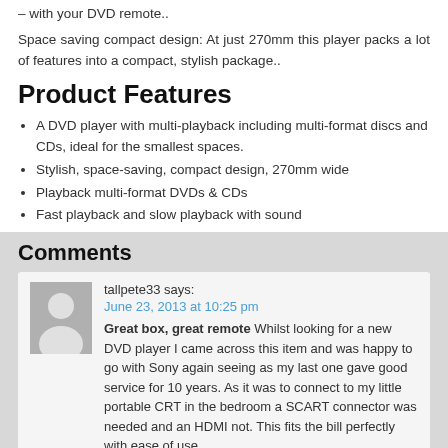– with your DVD remote..
Space saving compact design: At just 270mm this player packs a lot of features into a compact, stylish package..
Product Features
A DVD player with multi-playback including multi-format discs and CDs, ideal for the smallest spaces.
Stylish, space-saving, compact design, 270mm wide
Playback multi-format DVDs & CDs
Fast playback and slow playback with sound
Comments
tallpete33 says: June 23, 2013 at 10:25 pm Great box, great remote Whilst looking for a new DVD player I came across this item and was happy to go with Sony again seeing as my last one gave good service for 10 years. As it was to connect to my little portable CRT in the bedroom a SCART connector was needed and an HDMI not. This fits the bill perfectly with ease of use,